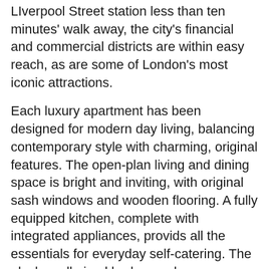Liverpool Street station less than ten minutes' walk away, the city's financial and commercial districts are within easy reach, as are some of London's most iconic attractions.
Each luxury apartment has been designed for modern day living, balancing contemporary style with charming, original features. The open-plan living and dining space is bright and inviting, with original sash windows and wooden flooring. A fully equipped kitchen, complete with integrated appliances, provids all the essentials for everyday self-catering. The plush, well-sized bedrooms have access to either an en suite or separate, high-specification bathroom, guaranteeing guests a relaxing stay. Complimentary WiFi and a weekly housekeeping service are provided for guests' convenience.
[Figure (screenshot): Directions widget with label 'Directions from here to:', a text input placeholder 'Town / City / Post Code', a dark navy GO button, an expand/fullscreen icon button, and a partial map showing Borehamwood, Enfield, Abbey, and Loughton labels.]